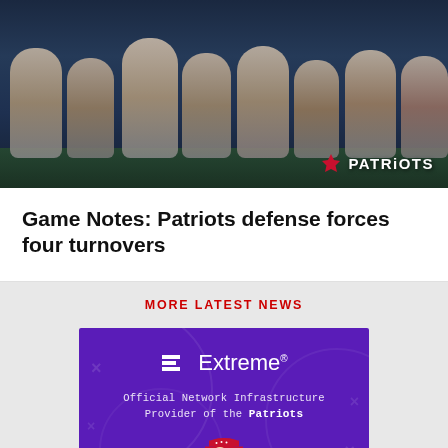[Figure (photo): New England Patriots football players on field, dark blue uniforms, with Patriots logo watermark in bottom right corner]
Game Notes: Patriots defense forces four turnovers
MORE LATEST NEWS
[Figure (illustration): Extreme Networks advertisement banner with purple background. Shows Extreme logo and text: Official Network Infrastructure Provider of the Patriots, with Patriots logo at bottom]
[Figure (infographic): Social sharing icons: Facebook, Twitter, Email, Link]